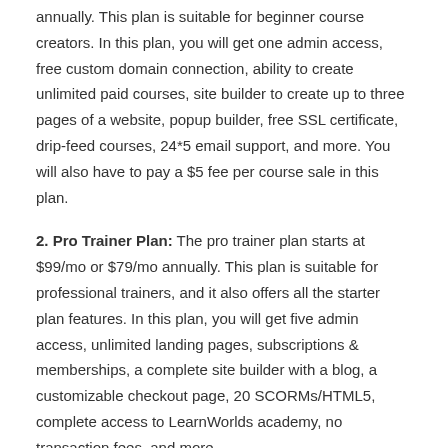annually. This plan is suitable for beginner course creators. In this plan, you will get one admin access, free custom domain connection, ability to create unlimited paid courses, site builder to create up to three pages of a website, popup builder, free SSL certificate, drip-feed courses, 24*5 email support, and more. You will also have to pay a $5 fee per course sale in this plan.
2. Pro Trainer Plan: The pro trainer plan starts at $99/mo or $79/mo annually. This plan is suitable for professional trainers, and it also offers all the starter plan features. In this plan, you will get five admin access, unlimited landing pages, subscriptions & memberships, a complete site builder with a blog, a customizable checkout page, 20 SCORMs/HTML5, complete access to LearnWorlds academy, no transaction fees, and more.
3. Learning Center Plan: The learning center plan starts at $299/mo or $249/mo. This plan is suitable for expert trainers, and it also offers all the pro trainer plan features. In this plan, you will get